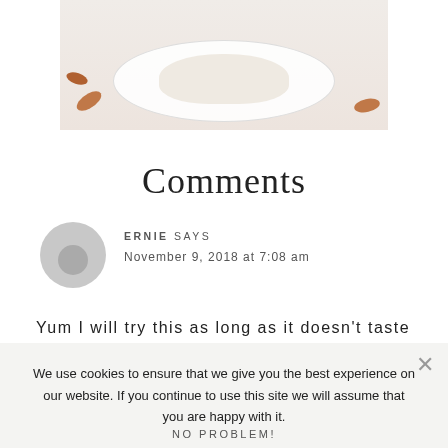[Figure (photo): Partial photo of a dessert/pie on a plate with pecans scattered around, pink/cream background, cropped view from above]
Comments
ERNIE SAYS
November 9, 2018 at 7:08 am
Yum I will try this as long as it doesn't taste
We use cookies to ensure that we give you the best experience on our website. If you continue to use this site we will assume that you are happy with it.
NO PROBLEM!